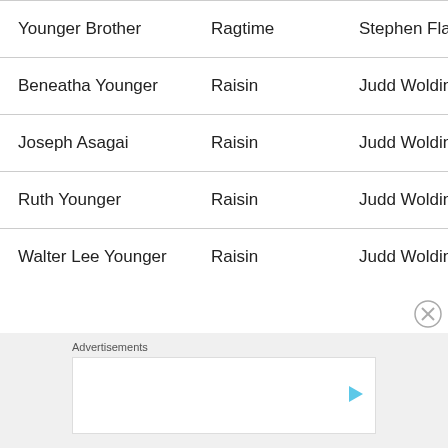| Character | Show | Composer |  |
| --- | --- | --- | --- |
| Younger Brother | Ragtime | Stephen Flattery | L |
| Beneatha Younger | Raisin | Judd Woldin | R |
| Joseph Asagai | Raisin | Judd Woldin | R |
| Ruth Younger | Raisin | Judd Woldin | R |
| Walter Lee Younger | Raisin | Judd Woldin | R |
Advertisements